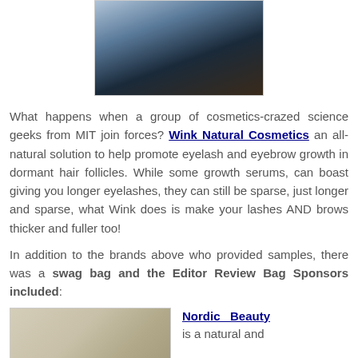[Figure (photo): Photo of a person in a dark jacket standing in front of white-draped chairs at an event.]
What happens when a group of cosmetics-crazed science geeks from MIT join forces? Wink Natural Cosmetics an all-natural solution to help promote eyelash and eyebrow growth in dormant hair follicles. While some growth serums, can boast giving you longer eyelashes, they can still be sparse, just longer and sparse, what Wink does is make your lashes AND brows thicker and fuller too!
In addition to the brands above who provided samples, there was a swag bag and the Editor Review Bag Sponsors included:
[Figure (photo): Photo of silver/metallic cosmetic containers arranged in a display.]
Nordic Beauty is a natural and